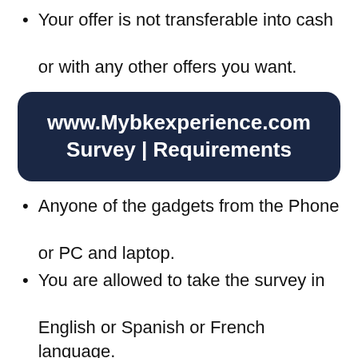Your offer is not transferable into cash or with any other offers you want.
www.Mybkexperience.com Survey | Requirements
Anyone of the gadgets from the Phone or PC and laptop.
You are allowed to take the survey in English or Spanish or French language.
You should have a Valid Email ID and Contact Number required.